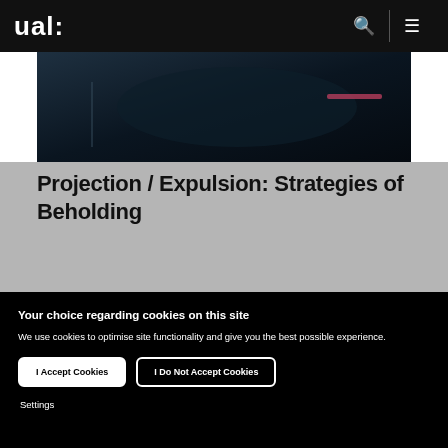ual:
[Figure (photo): Dark interior scene, dimly lit room or vehicle interior with atmospheric lighting and a reddish accent element on the right side]
Projection / Expulsion: Strategies of Beholding
Your choice regarding cookies on this site
We use cookies to optimise site functionality and give you the best possible experience.
I Accept Cookies
I Do Not Accept Cookies
Settings